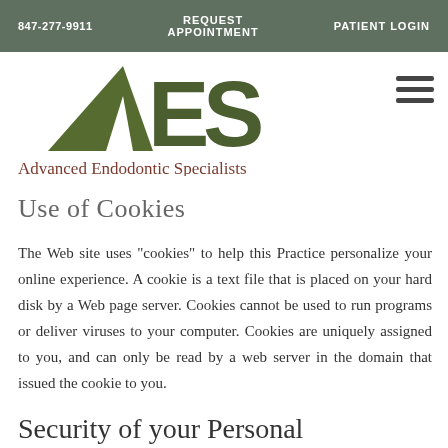847-277-9911   REQUEST APPOINTMENT   PATIENT LOGIN
[Figure (logo): AES logo with green triangle and stylized letters, with text 'Advanced Endodontic Specialists' below]
Use of Cookies
The Web site uses "cookies" to help this Practice personalize your online experience. A cookie is a text file that is placed on your hard disk by a Web page server. Cookies cannot be used to run programs or deliver viruses to your computer. Cookies are uniquely assigned to you, and can only be read by a web server in the domain that issued the cookie to you.
Security of your Personal